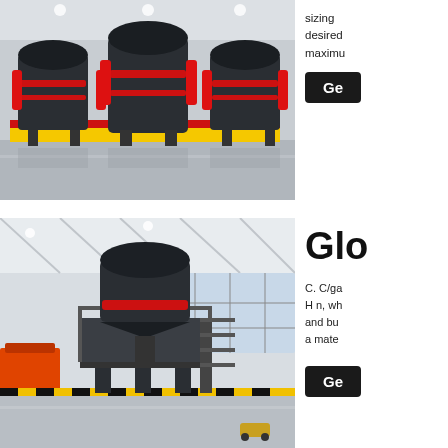[Figure (photo): Industrial cone crushers in a large factory hall with red and yellow base frames, dark gray machinery, reflective floor]
sizing desired maximum
Ge
[Figure (photo): Large cone crusher on elevated platform inside a spacious industrial warehouse with large windows and high ceiling]
Glo
C. C/ga H n, wh and bu a mate
Ge